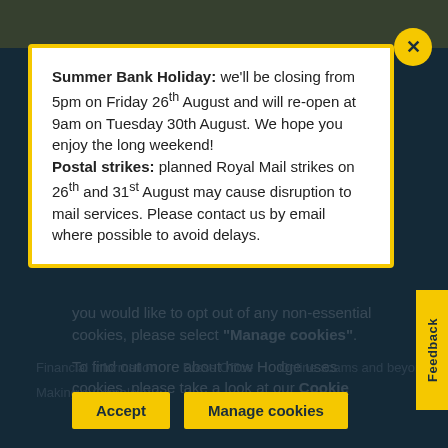Summer Bank Holiday: we'll be closing from 5pm on Friday 26th August and will re-open at 9am on Tuesday 30th August. We hope you enjoy the long weekend! Postal strikes: planned Royal Mail strikes on 26th and 31st August may cause disruption to mail services. Please contact us by email where possible to avoid delays.
you would like to opt out of any non-essential cookies, please select "Manage cookies". To find out more about how Hodge uses cookies, please take a look at our Cookie Policy.
Financial Information   Press Office   Online scams and beyond
Making a Complaint